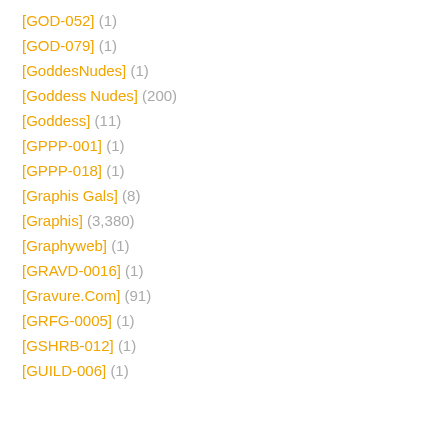[GOD-052] (1)
[GOD-079] (1)
[GoddesNudes] (1)
[Goddess Nudes] (200)
[Goddess] (11)
[GPPP-001] (1)
[GPPP-018] (1)
[Graphis Gals] (8)
[Graphis] (3,380)
[Graphyweb] (1)
[GRAVD-0016] (1)
[Gravure.Com] (91)
[GRFG-0005] (1)
[GSHRB-012] (1)
[GUILD-006] (1)